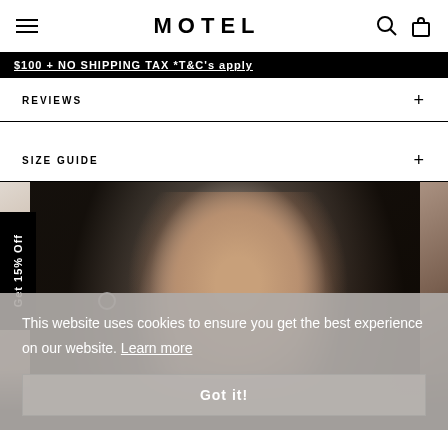MOTEL
$100 + NO SHIPPING TAX *T&C's apply
REVIEWS +
SIZE GUIDE +
[Figure (photo): Female model with long dark hair wearing hoop earrings and a dark floral outfit, photographed from the chest up against a light background. A '15% Off' vertical badge appears on the left side.]
This website uses cookies to ensure you get the best experience on our website. Learn more
Got it!